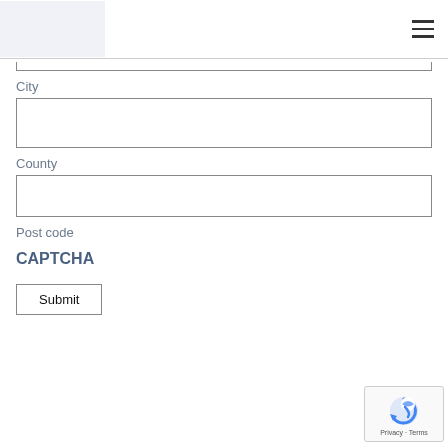[Logo] [Hamburger menu]
City
County
Post code
CAPTCHA
Submit
[Figure (other): reCAPTCHA badge with logo and Privacy - Terms links]